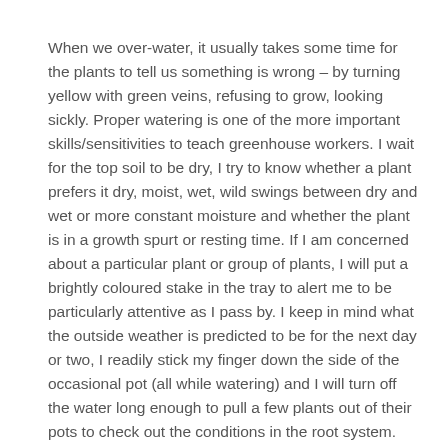When we over-water, it usually takes some time for the plants to tell us something is wrong – by turning yellow with green veins, refusing to grow, looking sickly. Proper watering is one of the more important skills/sensitivities to teach greenhouse workers. I wait for the top soil to be dry, I try to know whether a plant prefers it dry, moist, wet, wild swings between dry and wet or more constant moisture and whether the plant is in a growth spurt or resting time. If I am concerned about a particular plant or group of plants, I will put a brightly coloured stake in the tray to alert me to be particularly attentive as I pass by. I keep in mind what the outside weather is predicted to be for the next day or two, I readily stick my finger down the side of the occasional pot (all while watering) and I will turn off the water long enough to pull a few plants out of their pots to check out the conditions in the root system. That's a lot to keep in mind if I'm trying to get the